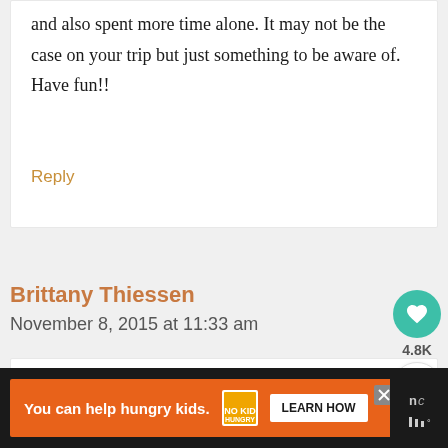and also spent more time alone. It may not be the case on your trip but just something to be aware of. Have fun!!
Reply
Brittany Thiessen
November 8, 2015 at 11:33 am
[Figure (infographic): Advertisement banner: orange background with text 'You can help hungry kids.' with No Kid Hungry logo and a 'LEARN HOW' button]